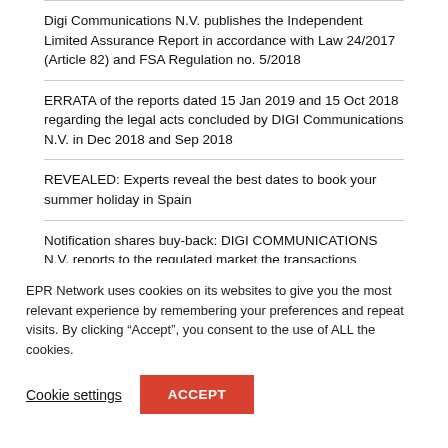Digi Communications N.V. publishes the Independent Limited Assurance Report in accordance with Law 24/2017 (Article 82) and FSA Regulation no. 5/2018
ERRATA of the reports dated 15 Jan 2019 and 15 Oct 2018 regarding the legal acts concluded by DIGI Communications N.V. in Dec 2018 and Sep 2018
REVEALED: Experts reveal the best dates to book your summer holiday in Spain
Notification shares buy-back: DIGI COMMUNICATIONS N.V. reports to the regulated market the transactions...
EPR Network uses cookies on its websites to give you the most relevant experience by remembering your preferences and repeat visits. By clicking “Accept”, you consent to the use of ALL the cookies.
Cookie settings
ACCEPT